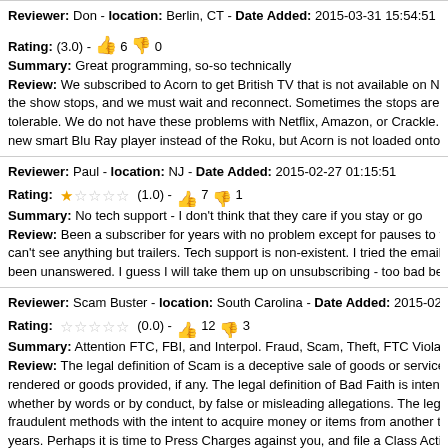Reviewer: Don - location: Berlin, CT - Date Added: 2015-03-31 15:54:51
Rating: (3.0) - 👍 6 👎 0
Summary: Great programming, so-so technically
Review: We subscribed to Acorn to get British TV that is not available on Netflix... the show stops, and we must wait and reconnect. Sometimes the stops are so fre... tolerable. We do not have these problems with Netflix, Amazon, or Crackle. We u... new smart Blu Ray player instead of the Roku, but Acorn is not loaded onto it and...
Reviewer: Paul - location: NJ - Date Added: 2015-02-27 01:15:51
Rating: ★☆☆☆☆ (1.0) - 👍 7 👎 1
Summary: No tech support - I don't think that they care if you stay or go
Review: Been a subscriber for years with no problem except for pauses to fill ca... can't see anything but trailers. Tech support is non-existent. I tried the email route... been unanswered. I guess I will take them up on unsubscribing - too bad because...
Reviewer: Scam Buster - location: South Carolina - Date Added: 2015-02-05 1...
Rating: ☆☆☆☆☆ (0.0) - 👍 12 👎 3
Summary: Attention FTC, FBI, and Interpol. Fraud, Scam, Theft, FTC Violation, S...
Review: The legal definition of Scam is a deceptive sale of goods or services to a... rendered or goods provided, if any. The legal definition of Bad Faith is intent to de... whether by words or by conduct, by false or misleading allegations. The legal def... fraudulent methods with the intent to acquire money or items from another to whi... years. Perhaps it is time to Press Charges against you, and file a Class Action La...
Reviewer: Irish Queen - location: Missouri - Date Added: 2015-02-01 03:45:58...
Rating: ★★☆☆☆ (2.5) - 👍 7 👎 0